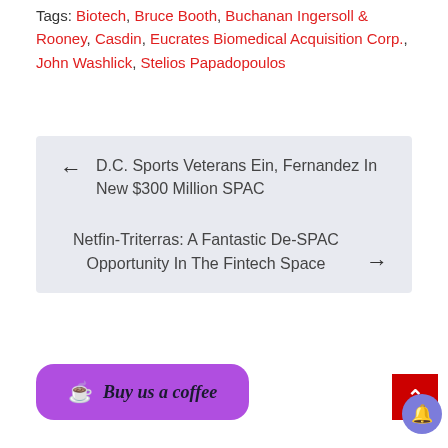Tags: Biotech, Bruce Booth, Buchanan Ingersoll & Rooney, Casdin, Eucrates Biomedical Acquisition Corp., John Washlick, Stelios Papadopoulos
← D.C. Sports Veterans Ein, Fernandez In New $300 Million SPAC
Netfin-Triterras: A Fantastic De-SPAC Opportunity In The Fintech Space →
[Figure (other): Purple rounded button with coffee cup icon and text 'Buy us a coffee']